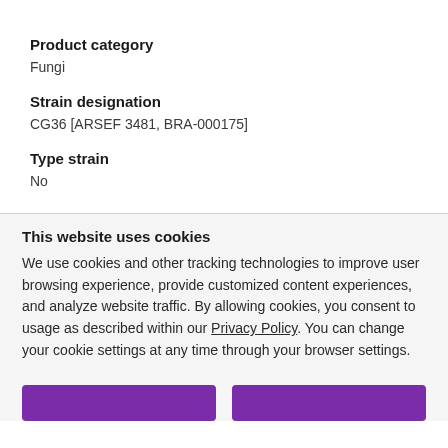Product category
Fungi
Strain designation
CG36 [ARSEF 3481, BRA-000175]
Type strain
No
This website uses cookies
We use cookies and other tracking technologies to improve user browsing experience, provide customized content experiences, and analyze website traffic. By allowing cookies, you consent to usage as described within our Privacy Policy. You can change your cookie settings at any time through your browser settings.